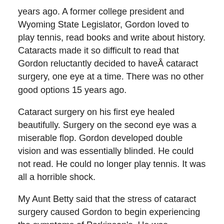years ago. A former college president and Wyoming State Legislator, Gordon loved to play tennis, read books and write about history. Cataracts made it so difficult to read that Gordon reluctantly decided to haveÂ cataract surgery, one eye at a time. There was no other good options 15 years ago.
Cataract surgery on his first eye healed beautifully. Surgery on the second eye was a miserable flop. Gordon developed double vision and was essentially blinded. He could not read. He could no longer play tennis. It was all a horrible shock.
My Aunt Betty said that the stress of cataract surgery caused Gordon to begin experiencing the symptoms of Parkinson's. He was diagnosed shortly after his failed surgery. Had Gordon been able to see, I believe he would still be playing tennis today at the age of 81. He died in the spring of 2009.